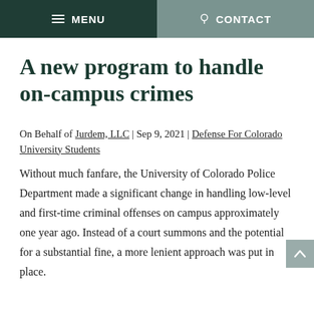≡ MENU | ♦ CONTACT
A new program to handle on-campus crimes
On Behalf of Jurdem, LLC | Sep 9, 2021 | Defense For Colorado University Students
Without much fanfare, the University of Colorado Police Department made a significant change in handling low-level and first-time criminal offenses on campus approximately one year ago. Instead of a court summons and the potential for a substantial fine, a more lenient approach was put in place.